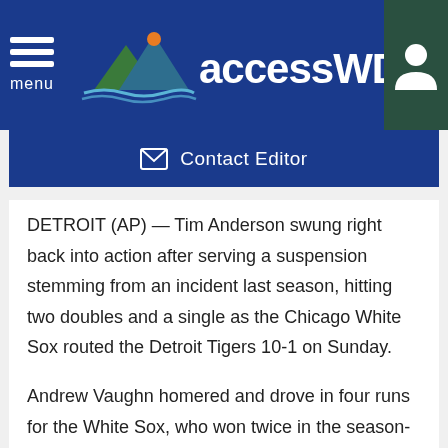accessWDUN — menu / user icon navigation
✉ Contact Editor
DETROIT (AP) — Tim Anderson swung right back into action after serving a suspension stemming from an incident last season, hitting two doubles and a single as the Chicago White Sox routed the Detroit Tigers 10-1 on Sunday.
Andrew Vaughn homered and drove in four runs for the White Sox, who won twice in the season-opening three-game series.
Anderson sat out the first two games as a penalty